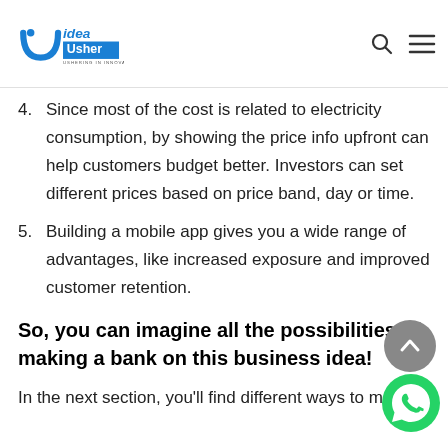Idea Usher — Ushering in Innovation
4. Since most of the cost is related to electricity consumption, by showing the price info upfront can help customers budget better. Investors can set different prices based on price band, day or time.
5. Building a mobile app gives you a wide range of advantages, like increased exposure and improved customer retention.
So, you can imagine all the possibilities of making a bank on this business idea!
In the next section, you'll find different ways to make